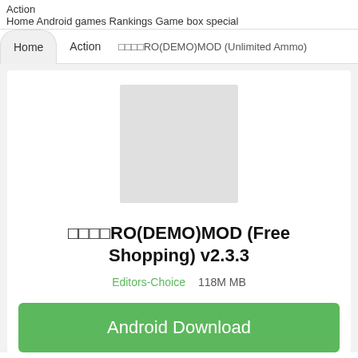Action
Home Android games Rankings Game box special
Home   Action   □□□□RO(DEMO)MOD (Unlimited Ammo)
[Figure (other): Gray placeholder rectangle representing app icon image]
□□□□RO(DEMO)MOD (Free Shopping) v2.3.3
Editors-Choice   118M MB
Android Download